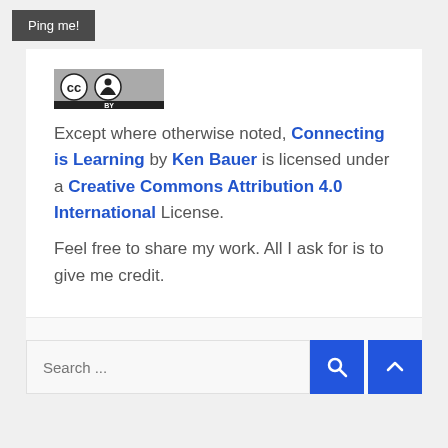[Figure (logo): Ping me! button - dark grey rectangular button with white text]
[Figure (logo): Creative Commons Attribution (CC BY) license badge - grey rectangle with CC and person icons and BY label]
Except where otherwise noted, Connecting is Learning by Ken Bauer is licensed under a Creative Commons Attribution 4.0 International License. Feel free to share my work. All I ask for is to give me credit.